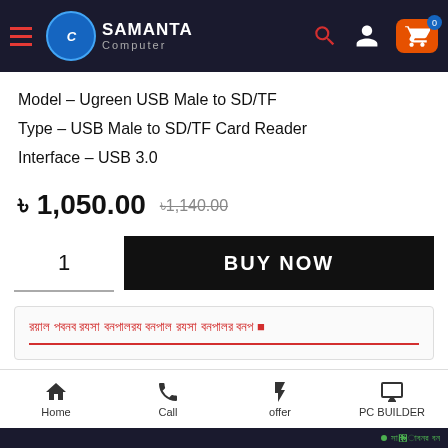Samanta Computer - navigation bar
Model – Ugreen USB Male to SD/TF
Type – USB Male to SD/TF Card Reader
Interface – USB 3.0
৳ 1,050.00  ৳1,140.00
1   BUY NOW
Bengali text banner (corrupted/encoded)
Home  Call  offer  PC BUILDER